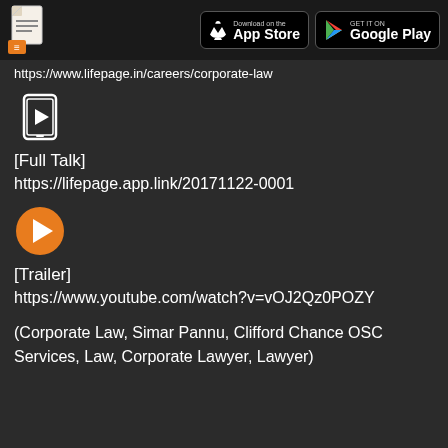App Store | Google Play
https://www.lifepage.in/careers/corporate-law
[Figure (illustration): Phone/video icon (monochrome outline of a mobile phone with play button)]
[Full Talk]
https://lifepage.app.link/20171122-0001
[Figure (illustration): Orange circular play button icon]
[Trailer]
https://www.youtube.com/watch?v=vOJ2Qz0POZY
(Corporate Law, Simar Pannu, Clifford Chance OSC Services, Law, Corporate Lawyer, Lawyer)